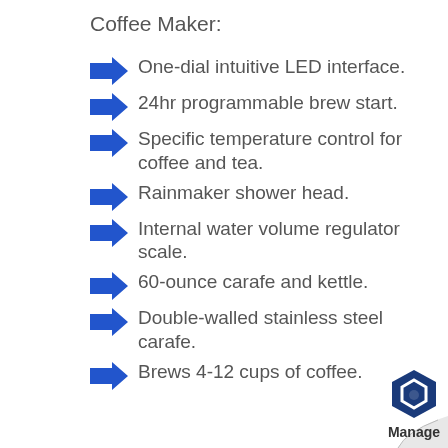Coffee Maker:
One-dial intuitive LED interface.
24hr programmable brew start.
Specific temperature control for coffee and tea.
Rainmaker shower head.
Internal water volume regulator scale.
60-ounce carafe and kettle.
Double-walled stainless steel carafe.
Brews 4-12 cups of coffee.
[Figure (logo): Manage logo with hexagonal icon and page curl effect in bottom-right corner]